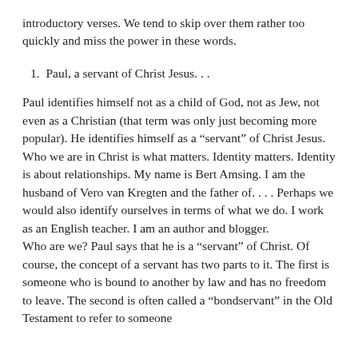introductory verses.  We tend to skip over them rather too quickly and miss the power in these words.
1.  Paul, a servant of Christ Jesus. . .
Paul identifies himself not as a child of God, not as Jew, not even as a Christian (that term was only just becoming more popular).  He identifies himself as a “servant” of Christ Jesus.  Who we are in Christ is what matters.  Identity matters.  Identity is about relationships.  My name is Bert Amsing.  I am the husband of Vero van Kregten and the father of. . . .  Perhaps we would also identify ourselves in terms of what we do.  I work as an English teacher.  I am an author and blogger.
Who are we?  Paul says that he is a “servant” of Christ.  Of course, the concept of a servant has two parts to it.  The first is someone who is bound to another by law and has no freedom to leave.  The second is often called a “bondservant” in the Old Testament to refer to someone